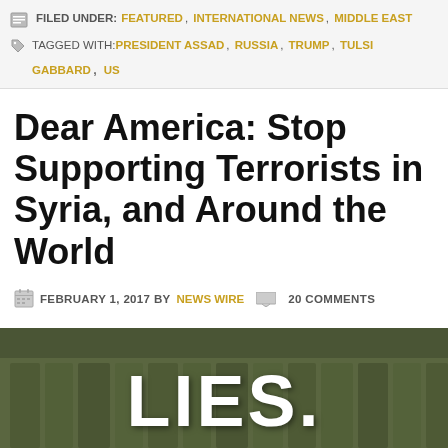FILED UNDER: FEATURED, INTERNATIONAL NEWS, MIDDLE EAST | TAGGED WITH: PRESIDENT ASSAD, RUSSIA, TRUMP, TULSI GABBARD, US
Dear America: Stop Supporting Terrorists in Syria, and Around the World
FEBRUARY 1, 2017 BY NEWS WIRE   20 COMMENTS
[Figure (photo): Photo of soldiers/militants standing in a row with rifles stacked in the foreground on sandy ground. Large white bold text overlay reads 'LIES.']